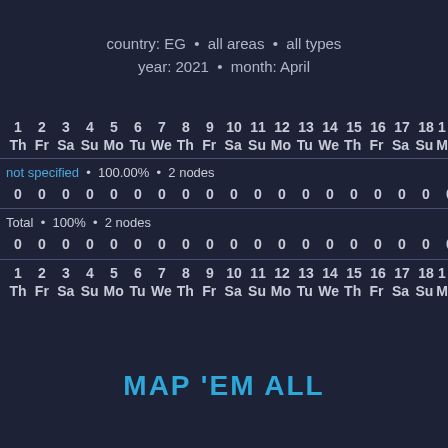country: EG • all areas • all types
year: 2021 • month: April
| 1 Th | 2 Fr | 3 Sa | 4 Su | 5 Mo | 6 Tu | 7 We | 8 Th | 9 Fr | 10 Sa | 11 Su | 12 Mo | 13 Tu | 14 We | 15 Th | 16 Fr | 17 Sa | 18 Su | ... |
| --- | --- | --- | --- | --- | --- | --- | --- | --- | --- | --- | --- | --- | --- | --- | --- | --- | --- | --- |
| not specified | • | 100.00% | • | 2 nodes |
| 0 | 0 | 0 | 0 | 0 | 0 | 0 | 0 | 0 | 0 | 0 | 0 | 0 | 0 | 0 | 0 | 0 | 0 | ... |
| Total | • | 100% | • | 2 nodes |
| 0 | 0 | 0 | 0 | 0 | 0 | 0 | 0 | 0 | 0 | 0 | 0 | 0 | 0 | 0 | 0 | 0 | 0 | ... |
MAP 'EM ALL